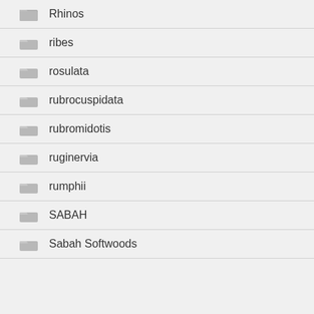Rhinos
ribes
rosulata
rubrocuspidata
rubromidotis
ruginervia
rumphii
SABAH
Sabah Softwoods